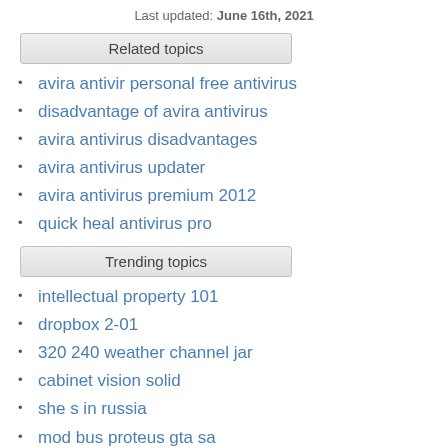Last updated: June 16th, 2021
Related topics
avira antivir personal free antivirus
disadvantage of avira antivirus
avira antivirus disadvantages
avira antivirus updater
avira antivirus premium 2012
quick heal antivirus pro
Trending topics
intellectual property 101
dropbox 2-01
320 240 weather channel jar
cabinet vision solid
she s in russia
mod bus proteus gta sa
nds jar download
sfz to sf2